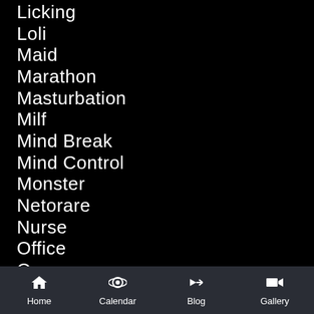Licking
Loli
Maid
Marathon
Masturbation
Milf
Mind Break
Mind Control
Monster
Netorare
Nurse
Office
Orgy
Plot
POV
Pregnant
Home   Calendar   Blog   Gallery